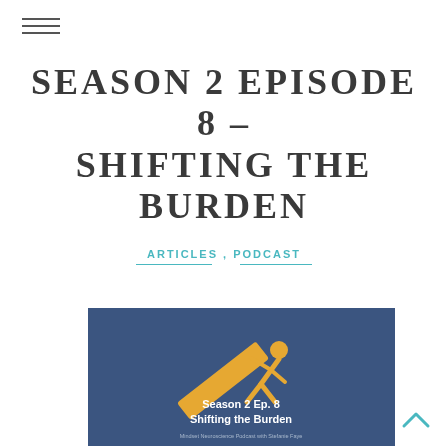☰ (hamburger menu icon)
SEASON 2 EPISODE 8 – SHIFTING THE BURDEN
ARTICLES , PODCAST
[Figure (illustration): Podcast cover art on a dark blue background showing a golden stick figure carrying a large heavy beam/plank, bent forward under the weight. Text reads 'Season 2 Ep. 8 Shifting the Burden' and 'Mindset Neuroscience Podcast with Stefanie Faye']